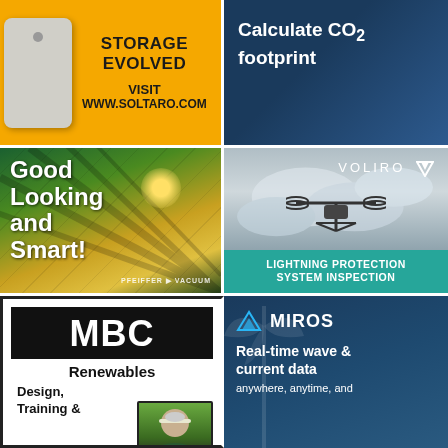[Figure (advertisement): Soltaro energy storage advertisement. Yellow/orange background with white battery storage device. Text: STORAGE EVOLVED, VISIT WWW.SOLTARO.COM]
[Figure (advertisement): Dark blue advertisement with text: Calculate CO2 footprint]
[Figure (advertisement): Solar panels advertisement by Pfeiffer Vacuum. Text: Good Looking and Smart!]
[Figure (advertisement): Voliro drone advertisement. Sky background with drone. Teal banner: LIGHTNING PROTECTION SYSTEM INSPECTION]
[Figure (advertisement): MBC Renewables advertisement. Black and white logo with text: MBC Renewables, Design, Training &]
[Figure (advertisement): Miros advertisement. Dark blue background with wind turbine. Text: Real-time wave & current data anywhere, anytime, and]